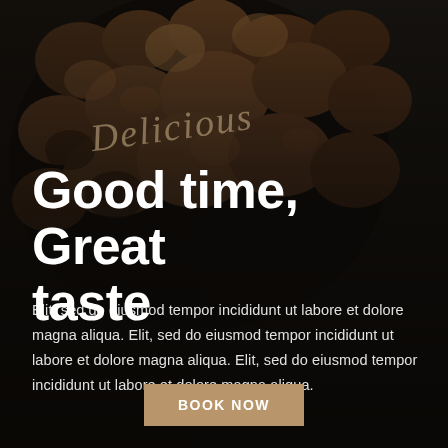[Figure (photo): Dark overhead food photography of roasted/grilled meat pieces in a dark pan/plate on a dark textured surface, with dark overlay gradient]
Good time, Great taste
Elit, sed do eiusmod tempor incididunt ut labore et dolore magna aliqua. Elit, sed do eiusmod tempor incididunt ut labore et dolore magna aliqua. Elit, sed do eiusmod tempor incididunt ut labore et dolore magna aliqua.
BOOK NOW